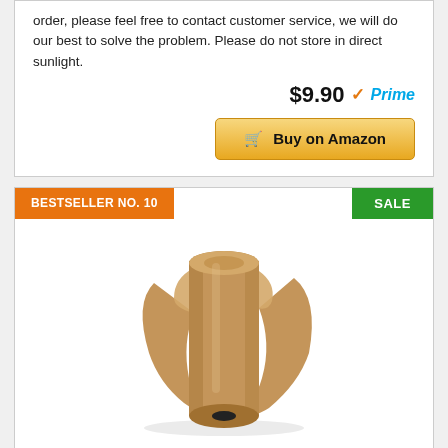order, please feel free to contact customer service, we will do our best to solve the problem. Please do not store in direct sunlight.
$9.90 ✓Prime
Buy on Amazon
BESTSELLER NO. 10
SALE
[Figure (photo): A roll of brown kraft paper, partially unrolled, showing a tan/brown paper roll with a dark inner core.]
Kraft Paper Roll 30" X 1800" (150ft) Brown Mega Roll - Made in USA 100% Natural